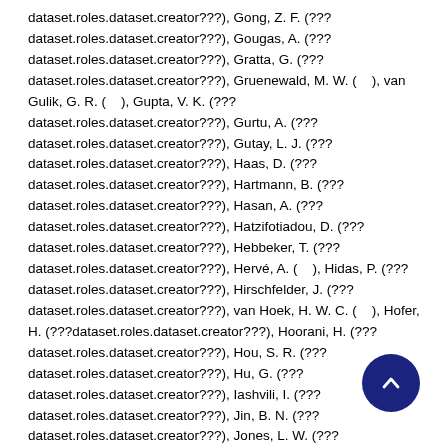dataset.roles.dataset.creator???), Gong, Z. F. (??? dataset.roles.dataset.creator???), Gougas, A. (??? dataset.roles.dataset.creator???), Gratta, G. (??? dataset.roles.dataset.creator???), Gruenewald, M. W. (   ), van Gulik, G. R. (   ), Gupta, V. K. (??? dataset.roles.dataset.creator???), Gurtu, A. (??? dataset.roles.dataset.creator???), Gutay, L. J. (??? dataset.roles.dataset.creator???), Haas, D. (??? dataset.roles.dataset.creator???), Hartmann, B. (??? dataset.roles.dataset.creator???), Hasan, A. (??? dataset.roles.dataset.creator???), Hatzifotiadou, D. (??? dataset.roles.dataset.creator???), Hebbeker, T. (??? dataset.roles.dataset.creator???), Hervé, A. (   ), Hidas, P. (??? dataset.roles.dataset.creator???), Hirschfelder, J. (??? dataset.roles.dataset.creator???), van Hoek, H. W. C. (   ), Hofer, H. (???dataset.roles.dataset.creator???), Hoorani, H. (??? dataset.roles.dataset.creator???), Hou, S. R. (??? dataset.roles.dataset.creator???), Hu, G. (??? dataset.roles.dataset.creator???), Iashvili, I. (??? dataset.roles.dataset.creator???), Jin, B. N. (??? dataset.roles.dataset.creator???), Jones, L. W. (??? dataset.roles.dataset.creator???), de Jong, J. P. (   ), Josa-
[Figure (other): Dark blue circular scroll-to-top button with an upward chevron arrow icon, positioned at bottom right of the page.]